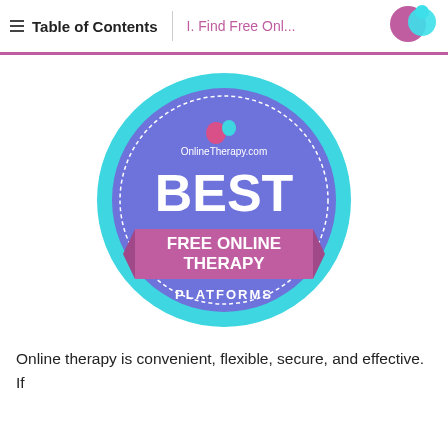Table of Contents | I. Find Free Onl...
[Figure (logo): Badge logo: OnlineTherapy.com BEST FREE ONLINE THERAPY PLATFORMS — circular badge with blue/purple gradient background, pink ribbon banner, and teal/cyan outer ring]
Online therapy is convenient, flexible, secure, and effective. If